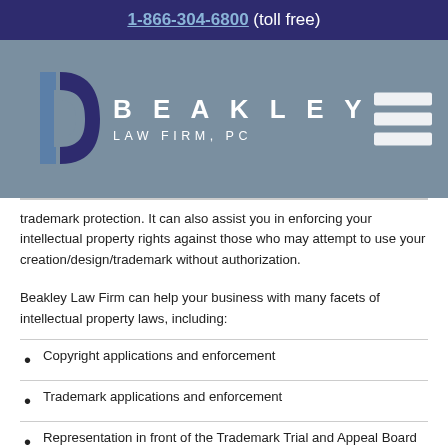1-866-304-6800 (toll free)
[Figure (logo): Beakley Law Firm, PC logo with stylized B mark in blue on grey background, with hamburger menu icon]
trademark protection. It can also assist you in enforcing your intellectual property rights against those who may attempt to use your creation/design/trademark without authorization.
Beakley Law Firm can help your business with many facets of intellectual property laws, including:
Copyright applications and enforcement
Trademark applications and enforcement
Representation in front of the Trademark Trial and Appeal Board